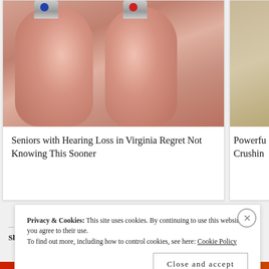[Figure (photo): Two fingers holding small hearing aid devices with blue and red colored tops, against a light background. Left card image.]
Seniors with Hearing Loss in Virginia Regret Not Knowing This Sooner
[Figure (photo): Partially visible image on right card, appears to show a room interior. Card is cut off at right edge.]
Powerfu Crushin
Share this:
Privacy & Cookies: This site uses cookies. By continuing to use this website, you agree to their use. To find out more, including how to control cookies, see here: Cookie Policy
Close and accept